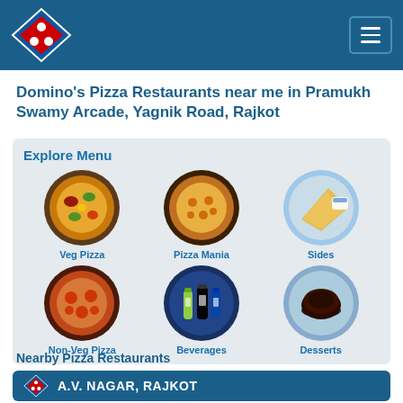[Figure (logo): Domino's Pizza logo — red and blue diamond with two white dots]
Domino's Pizza Restaurants near me in Pramukh Swamy Arcade, Yagnik Road, Rajkot
Explore Menu
[Figure (illustration): Circular menu item images: Veg Pizza, Pizza Mania, Sides, Non-Veg Pizza, Beverages, Desserts]
Nearby Pizza Restaurants
A.V. NAGAR, RAJKOT